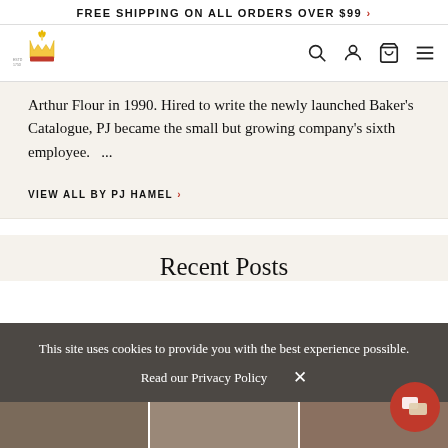FREE SHIPPING ON ALL ORDERS OVER $99 >
[Figure (logo): King Arthur Flour logo with crown and wheat, ESTD 1750]
Arthur Flour in 1990. Hired to write the newly launched Baker's Catalogue, PJ became the small but growing company's sixth employee.   ...
VIEW ALL BY PJ HAMEL >
Recent Posts
This site uses cookies to provide you with the best experience possible.
Read our Privacy Policy  ×